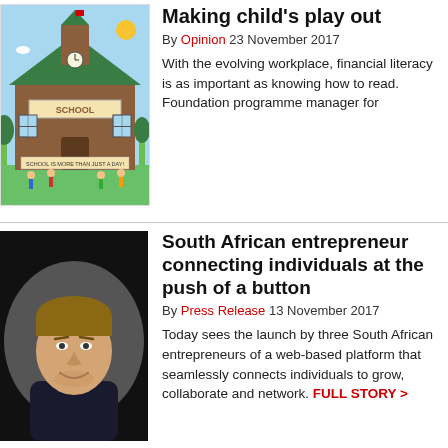[Figure (illustration): Cartoon illustration of a school building labeled 'Entrepreneur Oos' and 'SCHOOL' with children outside and banner text 'School is more than just a day!']
Making child's play out
By Opinion 23 November 2017
With the evolving workplace, financial literacy is as important as knowing how to read. Foundation programme manager for
[Figure (photo): Headshot photo of a young man with light brown hair wearing a dark shirt, smiling, against a grey background]
South African entrepreneur connecting individuals at the push of a button
By Press Release 13 November 2017
Today sees the launch by three South African entrepreneurs of a web-based platform that seamlessly connects individuals to grow, collaborate and network. FULL STORY >
[Figure (illustration): Blank/white image placeholder for Tshimologong article]
Tshimologong launches Week Programme
By Press Release